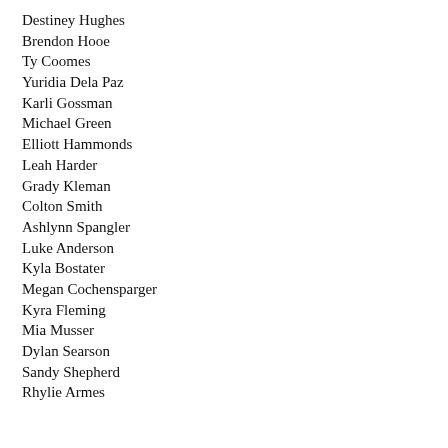Destiney Hughes
Brendon Hooe
Ty Coomes
Yuridia Dela Paz
Karli Gossman
Michael Green
Elliott Hammonds
Leah Harder
Grady Kleman
Colton Smith
Ashlynn Spangler
Luke Anderson
Kyla Bostater
Megan Cochensparger
Kyra Fleming
Mia Musser
Dylan Searson
Sandy Shepherd
Rhylie Armes